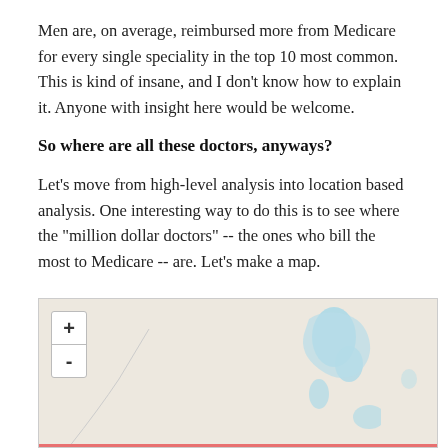Men are, on average, reimbursed more from Medicare for every single speciality in the top 10 most common. This is kind of insane, and I don't know how to explain it. Anyone with insight here would be welcome.
So where are all these doctors, anyways?
Let's move from high-level analysis into location based analysis. One interesting way to do this is to see where the "million dollar doctors" -- the ones who bill the most to Medicare -- are. Let's make a map.
[Figure (map): A geographic map showing regions of the United States, with blue water bodies visible. A zoom control (+/-) is shown in the upper left corner of the map. A pink/red line appears at the bottom edge.]